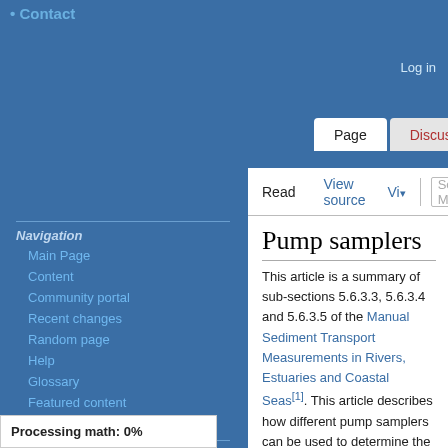Contact
Log in
Page | Discussion
Read | View source | Vi... | Search Marin
Navigation
Main Page
Content
Community portal
Recent changes
Random page
Help
Glossary
Featured content
New pages
Tools
What links here
Related changes
Pump samplers
This article is a summary of sub-sections 5.6.3.3, 5.6.3.4 and 5.6.3.5 of the Manual Sediment Transport Measurements in Rivers, Estuaries and Coastal Seas[1]. This article describes how different pump samplers can be used to determine the silt and sand concentration in a suspended load. Three types of pump-samplers are discussed: the pump-filter, the pump-
Processing math: 0%